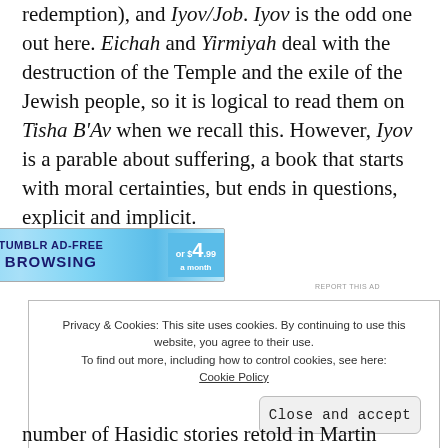redemption), and Iyov/Job. Iyov is the odd one out here. Eichah and Yirmiyah deal with the destruction of the Temple and the exile of the Jewish people, so it is logical to read them on Tisha B'Av when we recall this. However, Iyov is a parable about suffering, a book that starts with moral certainties, but ends in questions, explicit and implicit.
[Figure (screenshot): Tumblr ad banner: TUMBLR AD-FREE BROWSING or $4.99 a month]
Privacy & Cookies: This site uses cookies. By continuing to use this website, you agree to their use. To find out more, including how to control cookies, see here: Cookie Policy
number of Hasidic stories retold in Martin Buber's